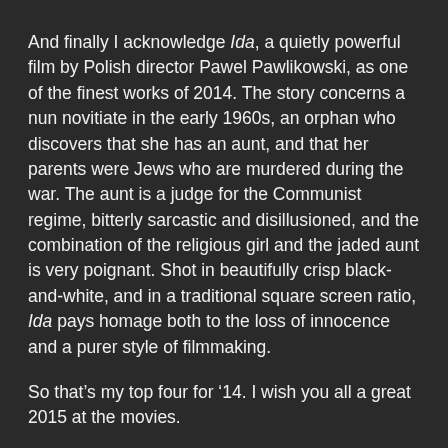And finally I acknowledge Ida, a quietly powerful film by Polish director Pawel Pawlikowski, as one of the finest works of 2014. The story concerns a nun novitiate in the early 1960s, an orphan who discovers that she has an aunt, and that her parents were Jews who are murdered during the war. The aunt is a judge for the Communist regime, bitterly sarcastic and disillusioned, and the combination of the religious girl and the jaded aunt is very poignant. Shot in beautifully crisp black-and-white, and in a traditional square screen ratio, Ida pays homage both to the loss of innocence and a purer style of filmmaking.
So that’s my top four for ‘14. I wish you all a great 2015 at the movies.
The full list of 10:
The Great Beauty (Paolo Sorrentino)